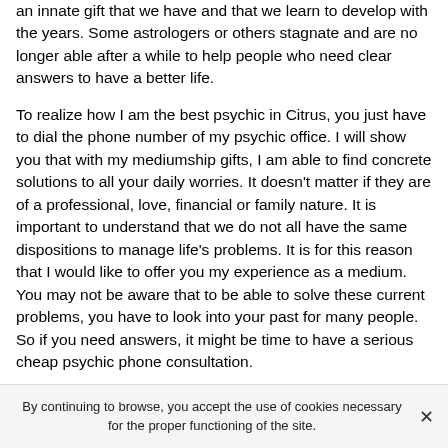an innate gift that we have and that we learn to develop with the years. Some astrologers or others stagnate and are no longer able after a while to help people who need clear answers to have a better life.
To realize how I am the best psychic in Citrus, you just have to dial the phone number of my psychic office. I will show you that with my mediumship gifts, I am able to find concrete solutions to all your daily worries. It doesn't matter if they are of a professional, love, financial or family nature. It is important to understand that we do not all have the same dispositions to manage life's problems. It is for this reason that I would like to offer you my experience as a medium. You may not be aware that to be able to solve these current problems, you have to look into your past for many people. So if you need answers, it might be time to have a serious cheap psychic phone consultation.
By continuing to browse, you accept the use of cookies necessary for the proper functioning of the site.